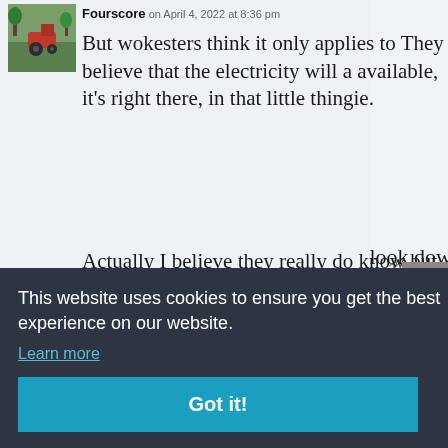[Figure (photo): Small avatar/thumbnail photo showing a red farm tractor or machine on grass]
Fourscore on April 4, 2022 at 8:36 pm
But wokesters think it only applies to They believe that the electricity will a available, it's right there, in that little thingie.
Actually I believe they really do know but by proselytizing and converting t youth they will have plenty, even if yo rationed.
look dow
22 at 8:45 p
o and nu runs on n y oppose omeone one out
goodness of their heart and g
This website uses cookies to ensure you get the best experience on our website.
Learn more
Got it!